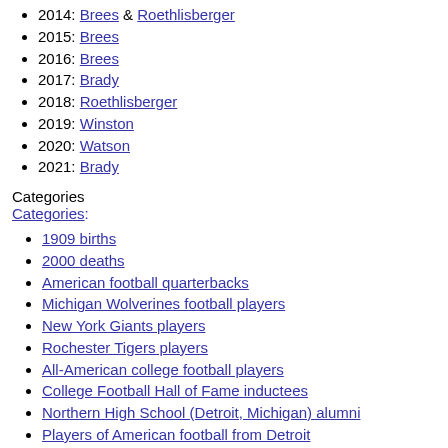2014: Brees & Roethlisberger
2015: Brees
2016: Brees
2017: Brady
2018: Roethlisberger
2019: Winston
2020: Watson
2021: Brady
Categories
Categories:
1909 births
2000 deaths
American football quarterbacks
Michigan Wolverines football players
New York Giants players
Rochester Tigers players
All-American college football players
College Football Hall of Fame inductees
Northern High School (Detroit, Michigan) alumni
Players of American football from Detroit
Jewish American sportspeople
20th-century American Jews